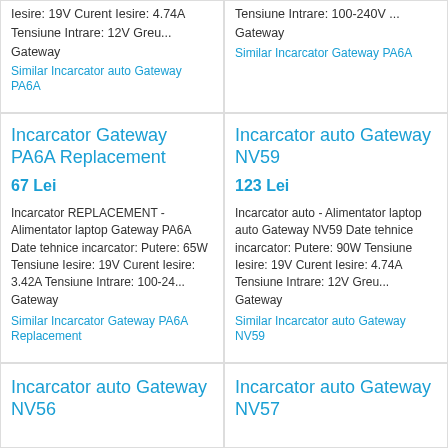Iesire: 19V Curent Iesire: 4.74A Tensiune Intrare: 12V Greu... Gateway
Similar Incarcator auto Gateway PA6A
Tensiune Intrare: 100-240V ... Gateway
Similar Incarcator Gateway PA6A
Incarcator Gateway PA6A Replacement
67 Lei
Incarcator REPLACEMENT - Alimentator laptop Gateway PA6A Date tehnice incarcator: Putere: 65W Tensiune Iesire: 19V Curent Iesire: 3.42A Tensiune Intrare: 100-24... Gateway
Similar Incarcator Gateway PA6A Replacement
Incarcator auto Gateway NV59
123 Lei
Incarcator auto - Alimentator laptop auto Gateway NV59 Date tehnice incarcator: Putere: 90W Tensiune Iesire: 19V Curent Iesire: 4.74A Tensiune Intrare: 12V Greu... Gateway
Similar Incarcator auto Gateway NV59
Incarcator auto Gateway NV56
Incarcator auto Gateway NV57